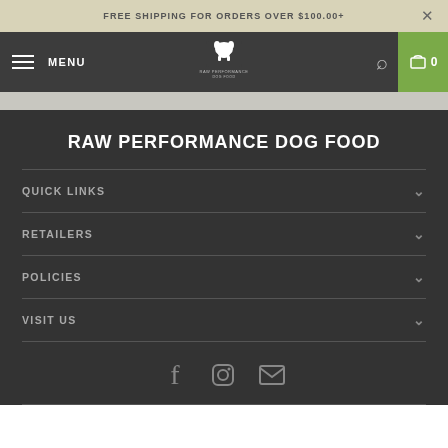FREE SHIPPING FOR ORDERS OVER $100.00+
[Figure (screenshot): Navigation bar with hamburger menu, MENU text, Raw Performance dog food logo, search icon, and cart icon showing 0]
RAW PERFORMANCE DOG FOOD
QUICK LINKS
RETAILERS
POLICIES
VISIT US
[Figure (infographic): Social media icons: Facebook, Instagram, Email]